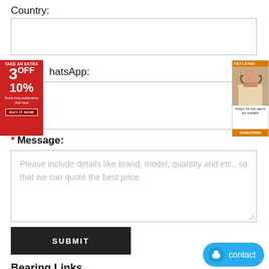Country:
[Figure (screenshot): Empty text input box for Country field]
[Figure (infographic): Left advertisement banner: TAKE AN EXTRA 3OFF 10% promotional red banner]
WhatsApp:
[Figure (screenshot): Empty text input box for WhatsApp field]
[Figure (infographic): Right advertisement banner with woman photo and contact agent button]
* Message:
[Figure (screenshot): Textarea input with placeholder: Please include details like brand, model, quantity and etc., so that we can quote the best price.]
SUBMIT
Bearing Links
IKO NTB6085 bearing
KOYO 6806-2RU bearing